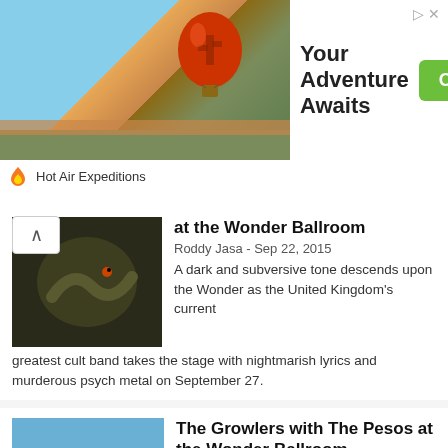[Figure (photo): Advertisement banner: hot air balloon photo on left, 'Your Adventure Awaits' headline in center, green 'Open' button on right, Hot Air Expeditions logo and company name below]
at the Wonder Ballroom
Roddy Jasa - Sep 22, 2015
A dark and subversive tone descends upon the Wonder as the United Kingdom's current greatest cult band takes the stage with nightmarish lyrics and murderous psych metal on September 27.
The Growlers with The Pesos at the Wonder Ballroom
Roddy Jasa - Sep 13, 2015
The ballroom keeps the summer heat aflame with a heavy dose of sun-scorched surf rock on September 16. Plus a second date has just been added for the following night at Mississippi Studios.